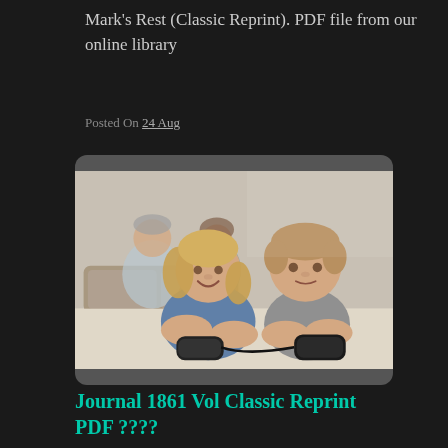Mark's Rest (Classic Reprint). PDF file from our online library
Posted On 24 Aug
[Figure (photo): Two children lying on a carpet playing video games with controllers, with two adults sitting on a sofa in the blurred background.]
Journal 1861 Vol Classic Reprint PDF ????